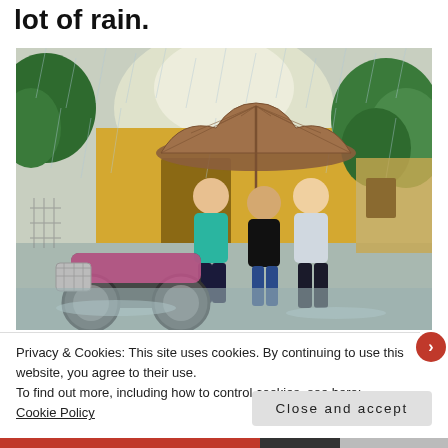lot of rain.
[Figure (photo): Three people smiling and posing under a large umbrella in heavy rain on a flooded street, with a pink moped bicycle nearby and a yellow building in the background surrounded by lush green trees.]
Privacy & Cookies: This site uses cookies. By continuing to use this website, you agree to their use.
To find out more, including how to control cookies, see here: Cookie Policy
Close and accept